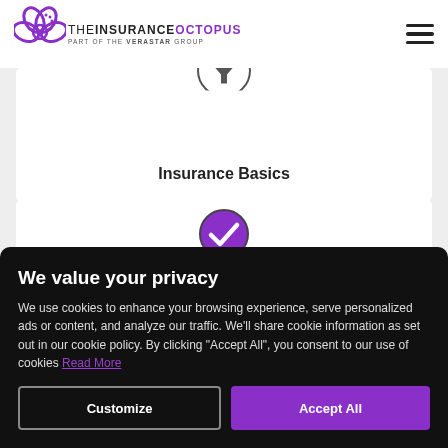THE INSURANCE OCTOPUS — PART OF THE VERASTAR GROUP
[Figure (screenshot): Insurance Basics card with funnel icon and bold title 'Insurance Basics']
[Figure (screenshot): Second content card with purple checkmark circle icon]
We value your privacy
We use cookies to enhance your browsing experience, serve personalized ads or content, and analyze our traffic. We'll share cookie information as set out in our cookie policy. By clicking "Accept All", you consent to our use of cookies Read More